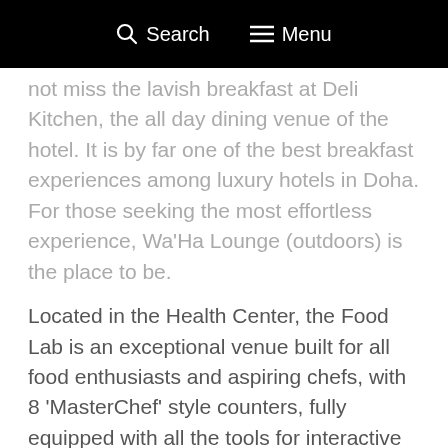🔍 Search  ≡ Menu
not miss the lavish breakfast at Deli Kitchen, the all day dining venue of the hotel. It is by far one of the best breakfast experiences among luxury hotels in Doha. For those seeking the most effortless experience, Wa'Ha Lounge (outdoors) is the place to be.
Located in the Health Center, the Food Lab is an exceptional venue built for all food enthusiasts and aspiring chefs, with 8 'MasterChef' style counters, fully equipped with all the tools for interactive cooking classes led by Michelin-star Chef Pino Lavar. The Food Lab
By using this site you agree with our privacy and cookie policy.
Read More